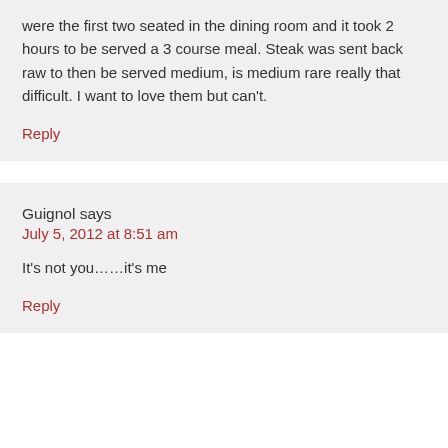were the first two seated in the dining room and it took 2 hours to be served a 3 course meal. Steak was sent back raw to then be served medium, is medium rare really that difficult. I want to love them but can't.
Reply
Guignol says
July 5, 2012 at 8:51 am
It's not you……it's me
Reply